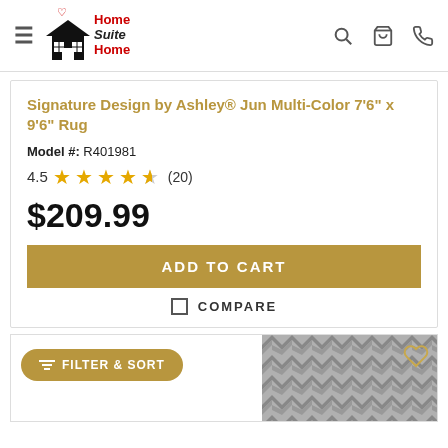Home Suite Home — navigation header with logo, hamburger menu, search, cart, phone icons
Signature Design by Ashley® Jun Multi-Color 7'6" x 9'6" Rug
Model #: R401981
4.5 stars (20)
$209.99
ADD TO CART
COMPARE
[Figure (screenshot): Bottom of page showing a Filter & Sort button and partial rug product image with a heart/wishlist icon]